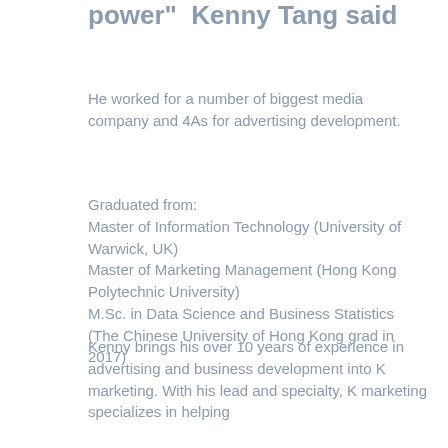power" Kenny Tang said
He worked for a number of biggest media company and 4As for advertising development.
Graduated from:
Master of Information Technology (University of Warwick, UK)
Master of Marketing Management (Hong Kong Polytechnic University)
M.Sc. in Data Science and Business Statistics (The Chinese University of Hong Kong grad in 2017)
Kenny brings his over 10 years of experience in advertising and business development into K marketing. With his lead and specialty, K marketing specializes in helping